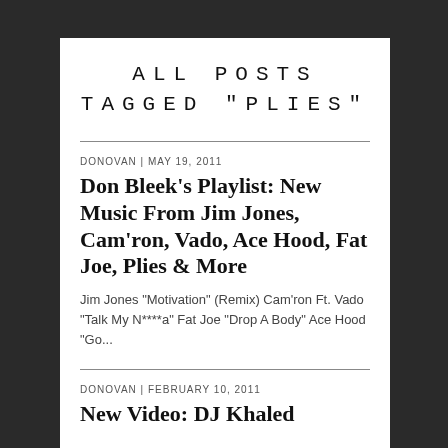ALL POSTS TAGGED "PLIES"
DONOVAN | May 19, 2011
Don Bleek’s Playlist: New Music From Jim Jones, Cam’ron, Vado, Ace Hood, Fat Joe, Plies & More
Jim Jones “Motivation” (Remix) Cam’ron Ft. Vado “Talk My N****a” Fat Joe “Drop A Body” Ace Hood “Go...
DONOVAN | February 10, 2011
New Video: DJ Khaled...